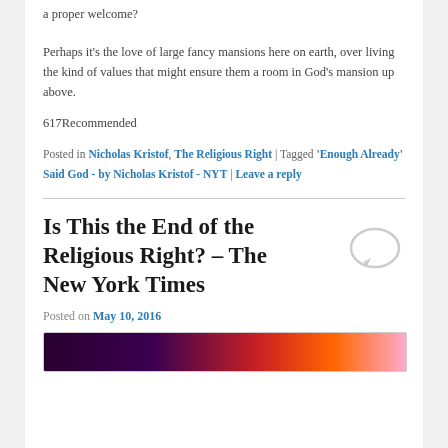a proper welcome?
Perhaps it's the love of large fancy mansions here on earth, over living the kind of values that might ensure them a room in God's mansion up above.
617Recommended
Posted in Nicholas Kristof, The Religious Right | Tagged 'Enough Already' Said God - by Nicholas Kristof - NYT | Leave a reply
Is This the End of the Religious Right? – The New York Times
Posted on May 10, 2016
[Figure (photo): Colorful concert or event photo with purple, red, and orange lighting]